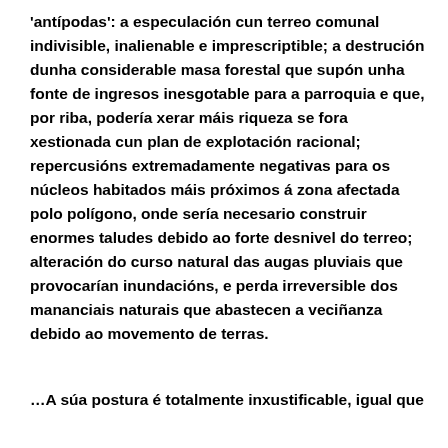'antípodas': a especulación cun terreo comunal indivisible, inalienable e imprescriptible; a destrución dunha considerable masa forestal que supón unha fonte de ingresos inesgotable para a parroquia e que, por riba, podería xerar máis riqueza se fora xestionada cun plan de explotación racional; repercusións extremadamente negativas para os núcleos habitados máis próximos á zona afectada polo polígono, onde sería necesario construir enormes taludes debido ao forte desnivel do terreo; alteración do curso natural das augas pluviais que provocarían inundacións, e perda irreversible dos mananciais naturais que abastecen a veciñanza debido ao movemento de terras.
…A súa postura é totalmente inxustificable, igual que